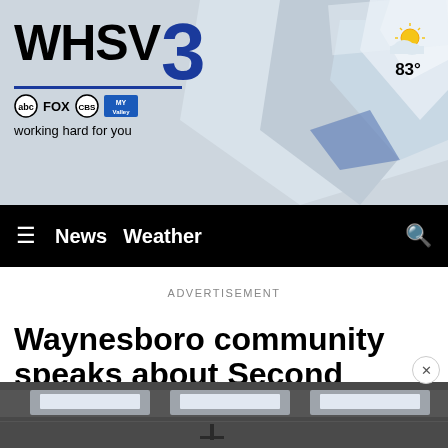[Figure (screenshot): WHSV3 news website header with logo showing WHSV 3 in bold black and blue, abc FOX CBS and MY Valley network logos, tagline 'working hard for you', background geometric shapes, and weather showing partly cloudy 83 degrees]
≡  News  Weather  🔍
ADVERTISEMENT
Waynesboro community speaks about Second Amendment concerns during council meeting
[Figure (photo): Bottom strip of a room interior photo, partially visible, showing ceiling lights]